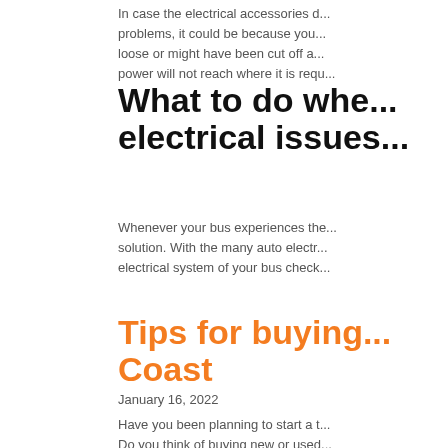In case the electrical accessories d... problems, it could be because you... loose or might have been cut off a... power will not reach where it is requ...
What to do whe... electrical issues...
Whenever your bus experiences the... solution. With the many auto electr... electrical system of your bus check...
Tips for buying... Coast
January 16, 2022
Have you been planning to start a t... Do you think of buying new or used... make sure that you buy some towin... services that they need. In most cases when people are inve...